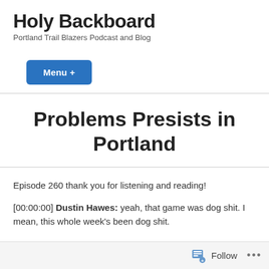Holy Backboard
Portland Trail Blazers Podcast and Blog
Menu +
Problems Presists in Portland
Episode 260 thank you for listening and reading!
[00:00:00] Dustin Hawes: yeah, that game was dog shit. I mean, this whole week's been dog shit.
Follow ...